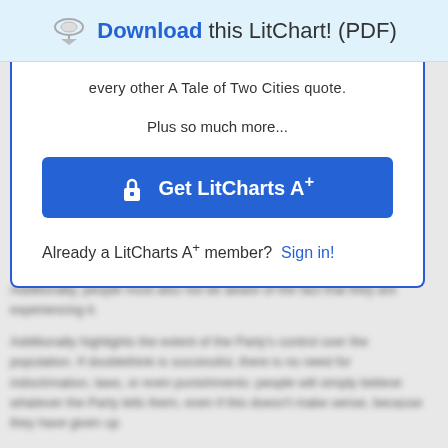Download this LitChart! (PDF)
every other A Tale of Two Cities quote.
Plus so much more...
Get LitCharts A+
Already a LitCharts A+ member?  Sign in!